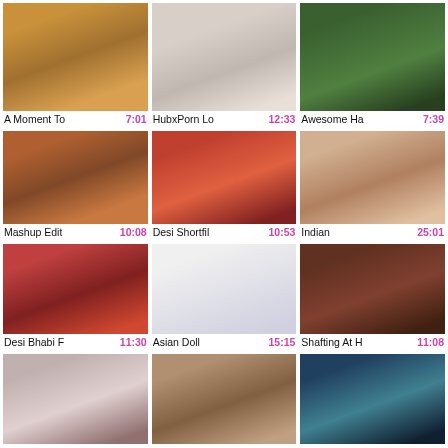[Figure (screenshot): Video thumbnail grid page showing adult video thumbnails with titles and durations]
A Moment To  7:01
HubxPorn Lo  12:33
Awesome Ha  7:39
Mashup Edit  10:08
Desi Shortfil  10:53
Indian  25:01
Desi Bhabi F  11:30
Asian Doll  15:15
Shafting At H  11:08